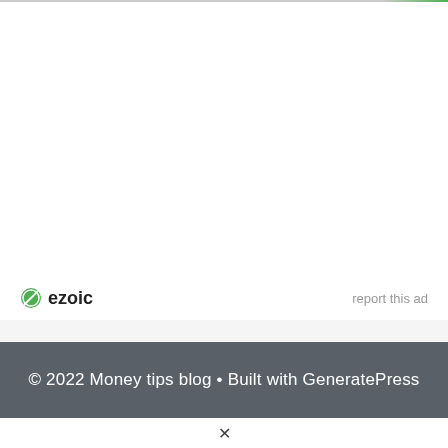[Figure (other): Ezoic ad placeholder area with ezoic logo and 'report this ad' link at bottom]
© 2022 Money tips blog • Built with GeneratePress